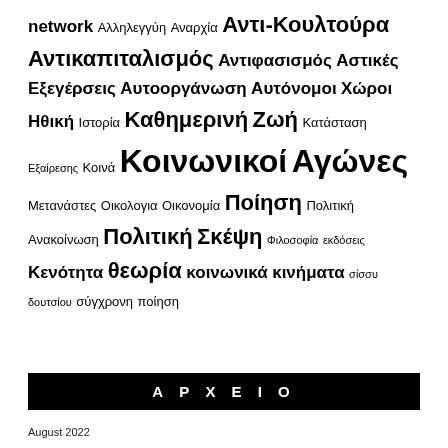network Αλληλεγγύη Αναρχία Αντι-Κουλτούρα Αντικαπιταλισμός Αντιφασισμός Αστικές Εξεγέρσεις Αυτοοργάνωση Αυτόνομοι Χώροι Ηθική Ιστορία Καθημερινή Ζωή Κατάσταση Εξαίρεσης Κοινά Κοινωνικοί Αγώνες Μετανάστες Οικολογια Οικονομία Ποίηση Πολιτική Ανακοίνωση Πολιτική Σκέψη Φιλοσοφία εκδόσεις Κενότητα θεωρία κοινωνικά κινήματα σίσσυ δουτσίου σύγχρονη ποίηση
ΑΡΧΕΙΟ
August 2022